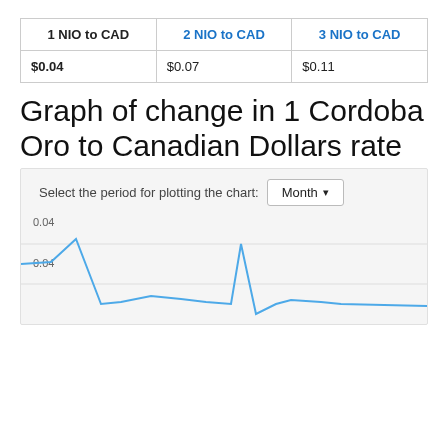| 1 NIO to CAD | 2 NIO to CAD | 3 NIO to CAD |
| --- | --- | --- |
| $0.04 | $0.07 | $0.11 |
Graph of change in 1 Cordoba Oro to Canadian Dollars rate
[Figure (continuous-plot): Line chart showing the change in 1 Cordoba Oro (NIO) to Canadian Dollar (CAD) exchange rate over a month period. Y-axis shows values around 0.04. A period selector dropdown shows 'Month'. The line dips sharply then rises with a spike, roughly oscillating near 0.04.]